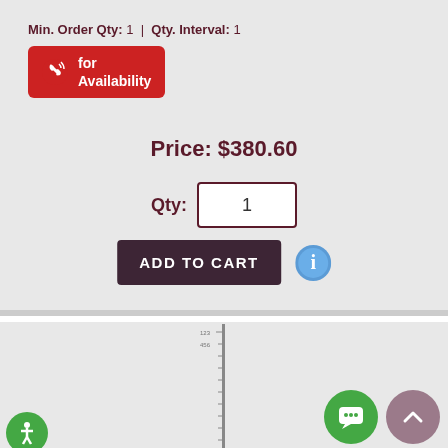Min. Order Qty: 1 | Qty. Interval: 1
[Figure (other): Red call button with phone icon labeled 'for Availability']
Price: $380.60
Qty: 1
ADD TO CART
[Figure (other): Product image area showing a tall thin pole/antenna against light gray background]
[Figure (other): Green chat bubble floating button, mauve scroll-to-top button, and green accessibility button]